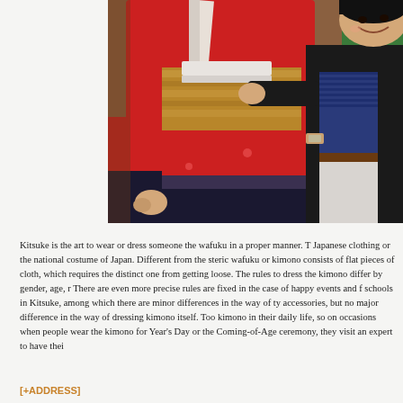[Figure (photo): A person wearing a bright red kimono (wafuku) being helped by another person in black clothing. The kimono wearer has a golden obi sash tied around the waist with white ties. The helper is smiling and assisting with the dressing. Background shows colorful hanging garments.]
Kitsuke is the art to wear or dress someone the wafuku in a proper manner. T... Japanese clothing or the national costume of Japan. Different from the steric... wafuku or kimono consists of flat pieces of cloth, which requires the distinct... one from getting loose. The rules to dress the kimono differ by gender, age, r... There are even more precise rules are fixed in the case of happy events and f... schools in Kitsuke, among which there are minor differences in the way of ty... accessories, but no major difference in the way of dressing kimono itself. Too... kimono in their daily life, so on occasions when people wear the kimono for ... Year's Day or the Coming-of-Age ceremony, they visit an expert to have thei...
[+ADDRESS]